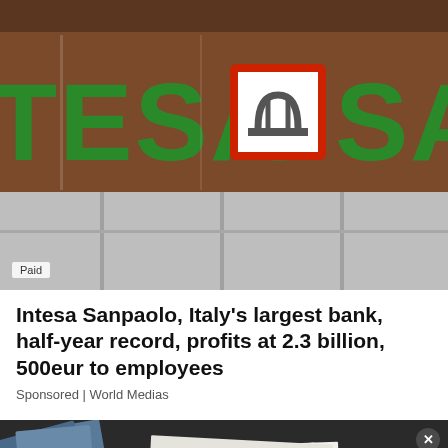[Figure (photo): Intesa Sanpaolo bank branch sign showing the name in large green letters with the bank logo (red-bordered square with white arch design) in between TESA and SANPAOLO text. A 'Paid' label appears in the bottom-left corner.]
Intesa Sanpaolo, Italy's largest bank, half-year record, profits at 2.3 billion, 500eur to employees
Sponsored | World Medias
[Figure (photo): Close-up photo of money/cash documents and banknotes spread on a surface, with a close (X) button in the top-right corner.]